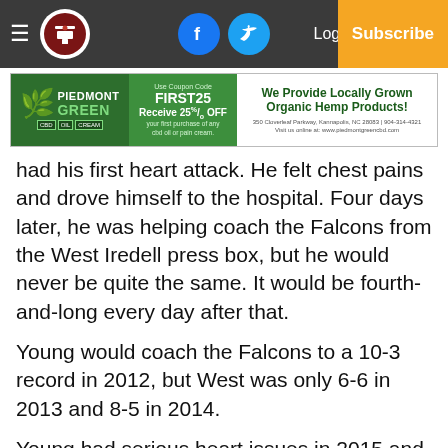Navigation bar with hamburger menu, logo, Facebook, Twitter, Log In, Subscribe
[Figure (infographic): Piedmont Green CBD advertisement banner: Use Coupon Code FIRST25, Receive 25% OFF your first purchase of any cbd oil or pain cream. We Provide Locally Grown Organic Hemp Products! 350 Cloverleaf Parkway, Kannapolis, NC 28083 | 904-314-4321 Visit us online at: www.piedmontgreencbd.com]
had his first heart attack. He felt chest pains and drove himself to the hospital. Four days later, he was helping coach the Falcons from the West Iredell press box, but he would never be quite the same. It would be fourth-and-long every day after that.
Young would coach the Falcons to a 10-3 record in 2012, but West was only 6-6 in 2013 and 8-5 in 2014.
Young had serious heart issues in 2015 and resigned as West's head coach in April. His goal was to get healthy and to see his children grow up. To do that, he would need a new heart.
[Figure (infographic): Piedmont Green CBD advertisement banner (repeat): Use Coupon Code FIRST25, Receive 25% OFF your first purchase of any cbd oil or pain cream. We Provide Locally Grown Organic Hemp Products! 350 Cloverleaf Parkway, Kannapolis, NC 28083 | 904-314-4321 Visit us online at: www.piedmontgreencbd.com]